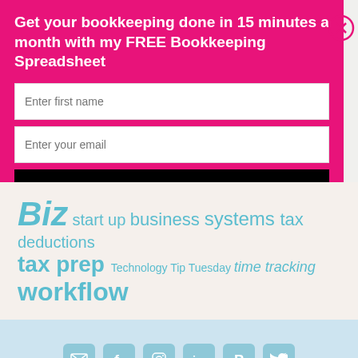[Figure (screenshot): Pink popup modal with title 'Get your bookkeeping done in 15 minutes a month with my FREE Bookkeeping Spreadsheet', two input fields for first name and email, and a black DOWNLOAD! button. A close (X) button is on the upper right.]
Biz  start up  business  systems  tax  deductions  tax prep  Technology  Tip Tuesday  time tracking  workflow
[Figure (infographic): Light blue footer section with six social media icon buttons (email, Facebook, Instagram, LinkedIn, Pinterest, Twitter) displayed in a row.]